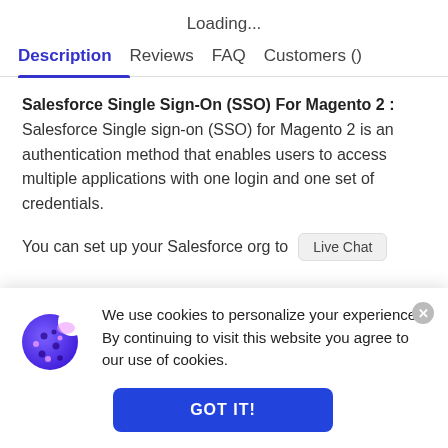Loading...
Description  Reviews  FAQ  Customers ()
Salesforce Single Sign-On (SSO) For Magento 2 :  Salesforce Single sign-on (SSO) for Magento 2 is an authentication method that enables users to access multiple applications with one login and one set of credentials.
You can set up your Salesforce org to
[Figure (screenshot): Cookie consent banner with a cookie emoji icon, message 'We use cookies to personalize your experience. By continuing to visit this website you agree to our use of cookies.', a close button (x), and a 'GOT IT!' button.]
We use cookies to personalize your experience. By continuing to visit this website you agree to our use of cookies.
GOT IT!